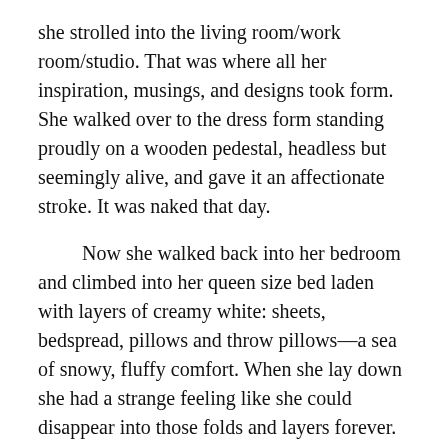she strolled into the living room/work room/studio. That was where all her inspiration, musings, and designs took form.  She walked over to the dress form standing proudly on a wooden pedestal, headless but seemingly alive, and gave it an affectionate stroke.  It was naked that day.
Now she walked back into her bedroom and climbed into her queen size bed laden with layers of creamy white: sheets, bedspread, pillows and throw pillows—a sea of snowy, fluffy comfort.  When she lay down she had a strange feeling like she could disappear into those folds and layers forever.
She was relaxed in a way that she hadn't been before, at least that she could ever remember.  Even when she wasn't actually sitting at the sewing machine,